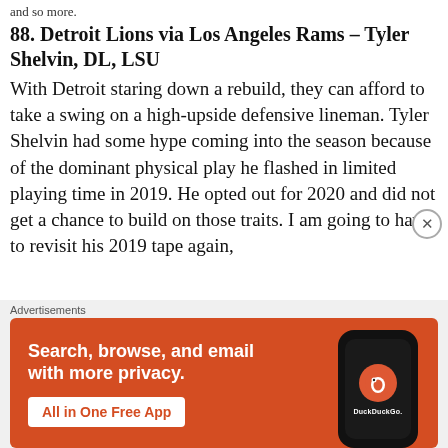and so more.
88. Detroit Lions via Los Angeles Rams – Tyler Shelvin, DL, LSU
With Detroit staring down a rebuild, they can afford to take a swing on a high-upside defensive lineman. Tyler Shelvin had some hype coming into the season because of the dominant physical play he flashed in limited playing time in 2019. He opted out for 2020 and did not get a chance to build on those traits. I am going to have to revisit his 2019 tape again,
[Figure (screenshot): DuckDuckGo advertisement banner with orange background showing 'Search, browse, and email with more privacy. All in One Free App' with a phone mockup showing the DuckDuckGo logo and name.]